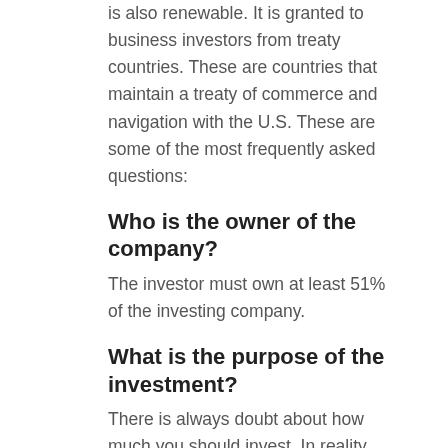is also renewable. It is granted to business investors from treaty countries. These are countries that maintain a treaty of commerce and navigation with the U.S. These are some of the most frequently asked questions:
Who is the owner of the company?
The investor must own at least 51% of the investing company.
What is the purpose of the investment?
There is always doubt about how much you should invest. In reality, the law does not set a minimum amount for the investment. However, you should invest approximately 100k U.S. in order to apply for the E-2 Visa. You can do it on an existing business or in a start-up.
[flags] invest shall depend on 2